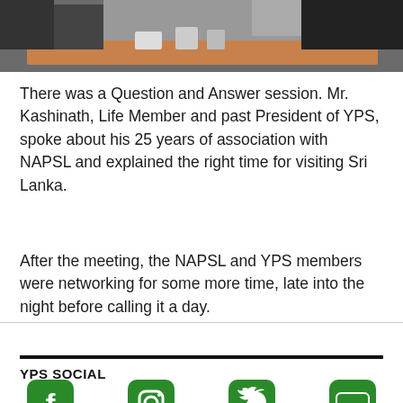[Figure (photo): Group photo of people at a meeting/networking event, partially cropped at top]
There was a Question and Answer session. Mr. Kashinath, Life Member and past President of YPS, spoke about his 25 years of association with NAPSL and explained the right time for visiting Sri Lanka.
After the meeting, the NAPSL and YPS members were networking for some more time, late into the night before calling it a day.
YPS SOCIAL
[Figure (illustration): Social media icons: Facebook, Instagram, Twitter, YouTube in green rounded square style]